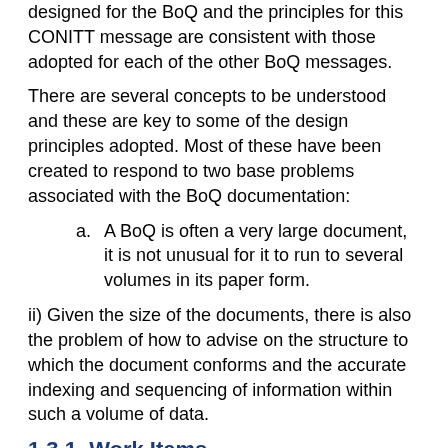designed for the BoQ and the principles for this CONITT message are consistent with those adopted for each of the other BoQ messages.
There are several concepts to be understood and these are key to some of the design principles adopted. Most of these have been created to respond to two base problems associated with the BoQ documentation:
a. A BoQ is often a very large document, it is not unusual for it to run to several volumes in its paper form.
ii) Given the size of the documents, there is also the problem of how to advise on the structure to which the document conforms and the accurate indexing and sequencing of information within such a volume of data.
1.3.1. Work Items
Each individual component of work referred to in the BoQ is called a "work item" and it is at this level that progress and payments are evaluated. For each work item a description is